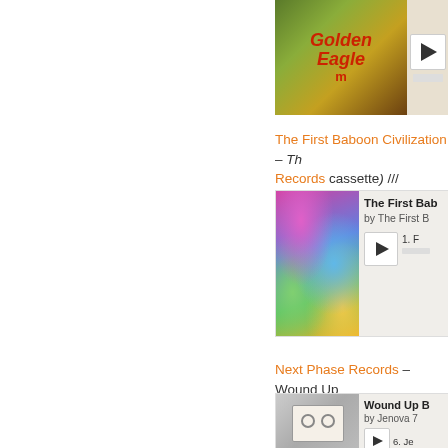[Figure (photo): Partially visible album artwork with 'Golden Eagle' text in red italic lettering on a nature background]
The First Baboon Civilization – Th... Records cassette) ///
[Figure (photo): Album cover with colorful psychedelic swirling rainbow pattern on a cassette tape case. Shows play button and track 1.]
The First Bab... by The First B... 1. F...
Next Phase Records – Wound Up...
[Figure (photo): Cassette tape product with red and white packaging, showing two spools. Play button and track 6.]
Wound Up B... by Jenova 7 6. Je...